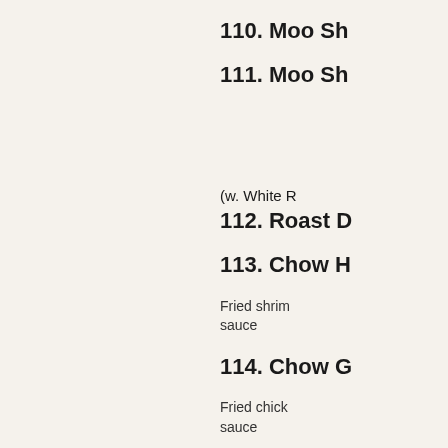110. Moo Sh
111. Moo Sh
(w. White R
112. Roast D
113. Chow H
Fried shrim sauce
114. Chow G
Fried chick sauce
115. Four Se
Roast pork